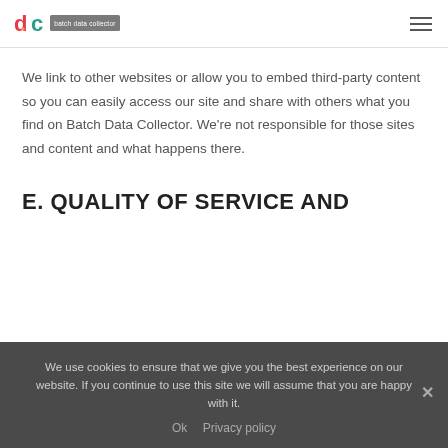[Figure (logo): Batch Data Collector logo with colorful 'dc' letters and grey rectangle with white text 'batch data collector']
We link to other websites or allow you to embed third-party content so you can easily access our site and share with others what you find on Batch Data Collector. We're not responsible for those sites and content and what happens there.
E. QUALITY OF SERVICE AND
We use cookies to ensure that we give you the best experience on our website. If you continue to use this site we will assume that you are happy with it.
Ok   Privacy policy